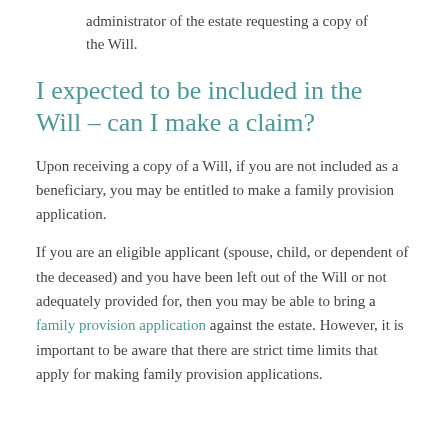administrator of the estate requesting a copy of the Will.
I expected to be included in the Will – can I make a claim?
Upon receiving a copy of a Will, if you are not included as a beneficiary, you may be entitled to make a family provision application.
If you are an eligible applicant (spouse, child, or dependent of the deceased) and you have been left out of the Will or not adequately provided for, then you may be able to bring a family provision application against the estate. However, it is important to be aware that there are strict time limits that apply for making family provision applications.